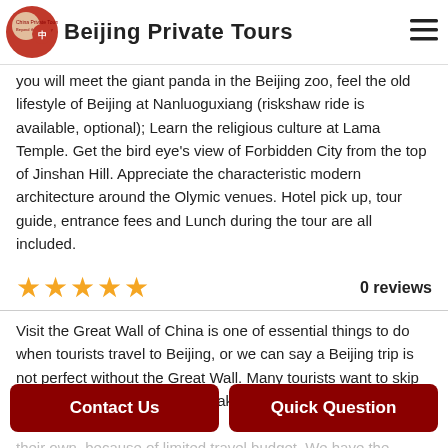Beijing Private Tours
you will meet the giant panda in the Beijing zoo, feel the old lifestyle of Beijing at Nanluoguxiang (riskshaw ride is available, optional); Learn the religious culture at Lama Temple. Get the bird eye's view of Forbidden City from the top of Jinshan Hill. Appreciate the characteristic modern architecture around the Olymic venues. Hotel pick up, tour guide, entrance fees and Lunch during the tour are all included.
★★★★★   0 reviews
Visit the Great Wall of China is one of essential things to do when tourists travel to Beijing, or we can say a Beijing trip is not perfect without the Great Wall. Many tourists want to skip the Great Wall sightseeing or take the complicated public transportation to visit on their own, because of limited travel budget. We have the different solution for Beijing Clients...